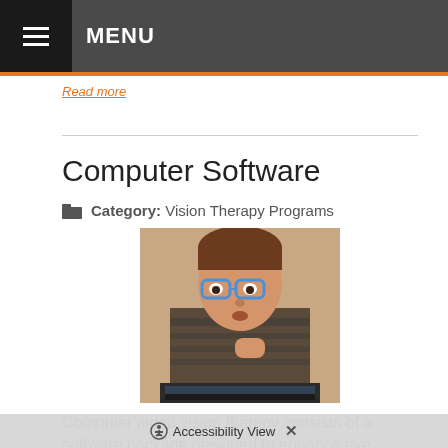MENU
Read more
Computer Software
Category: Vision Therapy Programs
[Figure (photo): Young child wearing blue glasses looking at a laptop computer]
Computer aided vision therapy consists of a software package designed to enhance eye tracking skills, visual thinking, processing skills and binocular vision skills. Eye teaming, focusing and tracking are not optical in nature, and problems in those areas are the result of poor eye mus...